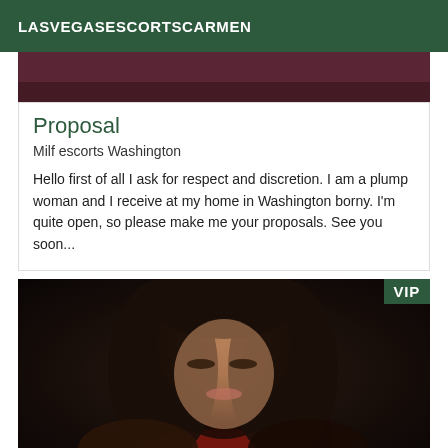LASVEGASESCORTSCARMEN
[Figure (photo): Partial top strip of a photo, dark reddish tones, upper portion cut off]
Proposal
Milf escorts Washington
Hello first of all I ask for respect and discretion. I am a plump woman and I receive at my home in Washington borny. I'm quite open, so please make me your proposals. See you soon...
[Figure (photo): Photo of a dark-haired woman looking down, wearing red clothing, VIP badge in upper right corner]